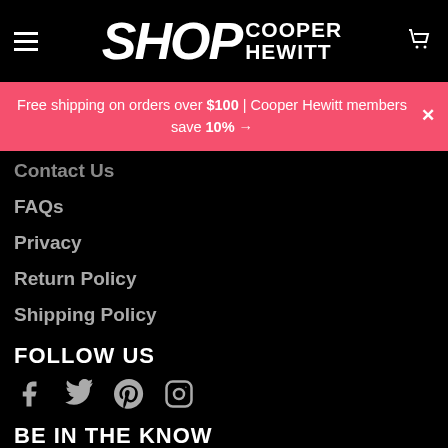SHOP COOPER HEWITT
Free shipping on orders over $100 | Cooper Hewitt members save 10% →
Contact Us
FAQs
Privacy
Return Policy
Shipping Policy
FOLLOW US
[Figure (other): Social media icons: Facebook, Twitter, Pinterest, Instagram]
BE IN THE KNOW